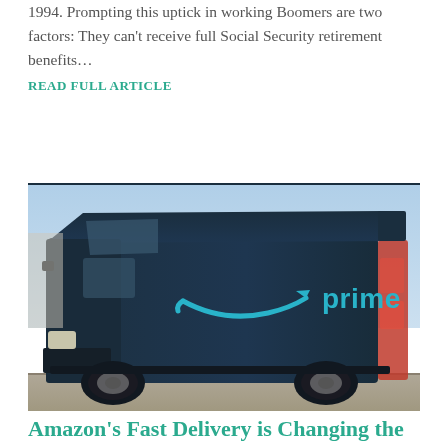1994. Prompting this uptick in working Boomers are two factors: They can't receive full Social Security retirement benefits...
READ FULL ARTICLE
[Figure (photo): An Amazon Prime delivery van parked in a lot, viewed from the side showing the blue van with Amazon's arrow logo and 'prime' text in light blue on the side panel.]
Amazon's Fast Delivery is Changing the